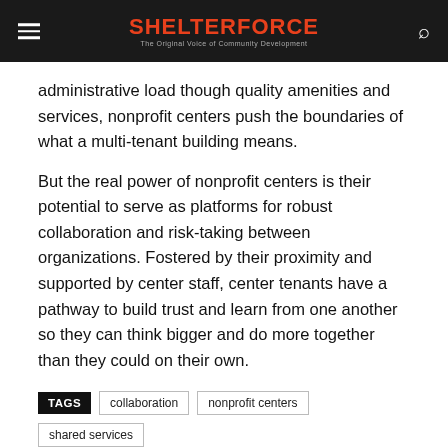SHELTERFORCE — The Original Voice of Community Development
administrative load though quality amenities and services, nonprofit centers push the boundaries of what a multi-tenant building means.
But the real power of nonprofit centers is their potential to serve as platforms for robust collaboration and risk-taking between organizations. Fostered by their proximity and supported by center staff, center tenants have a pathway to build trust and learn from one another so they can think bigger and do more together than they could on their own.
TAGS   collaboration   nonprofit centers   shared services
[Figure (other): Social media share buttons: Facebook, Twitter, LinkedIn, Reddit, Email, Print]